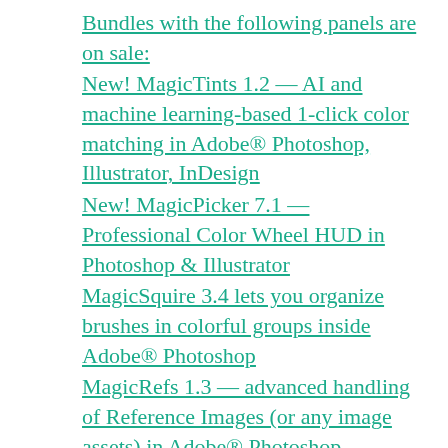Bundles with the following panels are on sale:
New! MagicTints 1.2 — AI and machine learning-based 1-click color matching in Adobe® Photoshop, Illustrator, InDesign
New! MagicPicker 7.1 — Professional Color Wheel HUD in Photoshop & Illustrator
MagicSquire 3.4 lets you organize brushes in colorful groups inside Adobe® Photoshop
MagicRefs 1.3 — advanced handling of Reference Images (or any image assets) in Adobe® Photoshop
MixColors 3.1 groups Photoshop color swatches in compact folders and mixes colors
DiskFonts lets preview fonts before installing them